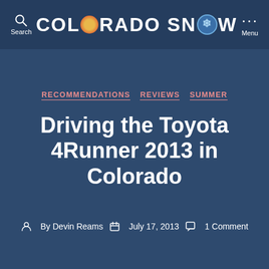COLORADO SNOW
RECOMMENDATIONS   REVIEWS   SUMMER
Driving the Toyota 4Runner 2013 in Colorado
By Devin Reams   July 17, 2013   1 Comment